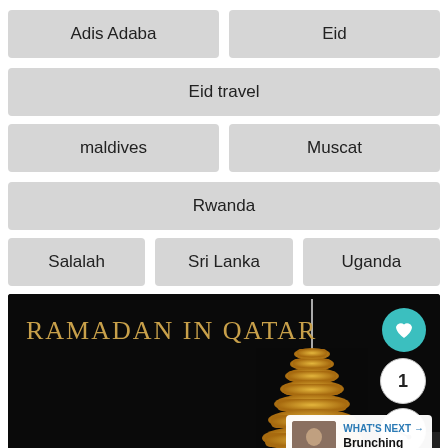Adis Adaba
Eid
Eid travel
maldives
Muscat
Rwanda
Salalah
Sri Lanka
Uganda
[Figure (photo): Dark background image with text 'Ramadan in Qatar' and a golden illuminated minaret/tower structure. Has UI overlay elements: a teal heart button, a count badge showing '1', a share button, and a 'What's Next' panel showing 'Brunching with Baby,...']
WHAT'S NEXT → Brunching with Baby,...
Ashburn OPEN 10AM–11PM 20356 Commonwealth Center ...